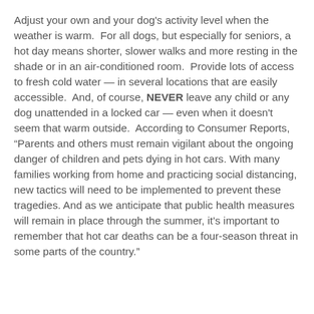Adjust your own and your dog's activity level when the weather is warm.  For all dogs, but especially for seniors, a hot day means shorter, slower walks and more resting in the shade or in an air-conditioned room.  Provide lots of access to fresh cold water — in several locations that are easily accessible.  And, of course, NEVER leave any child or any dog unattended in a locked car — even when it doesn't seem that warm outside.  According to Consumer Reports, “Parents and others must remain vigilant about the ongoing danger of children and pets dying in hot cars. With many families working from home and practicing social distancing, new tactics will need to be implemented to prevent these tragedies. And as we anticipate that public health measures will remain in place through the summer, it’s important to remember that hot car deaths can be a four-season threat in some parts of the country.”